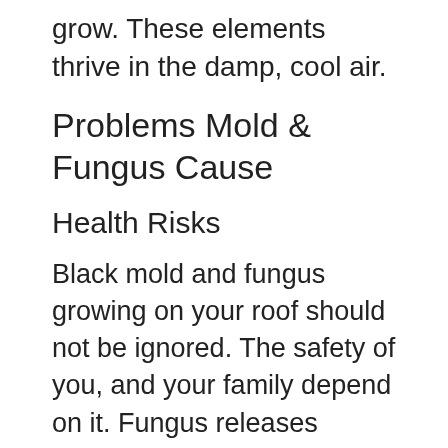grow. These elements thrive in the damp, cool air.
Problems Mold & Fungus Cause
Health Risks
Black mold and fungus growing on your roof should not be ignored. The safety of you, and your family depend on it. Fungus releases spores and other allergens that impact indoor air quality throughout your home. Families living in environments with mold or fungus present can suffer from hay fever like symptoms, or other